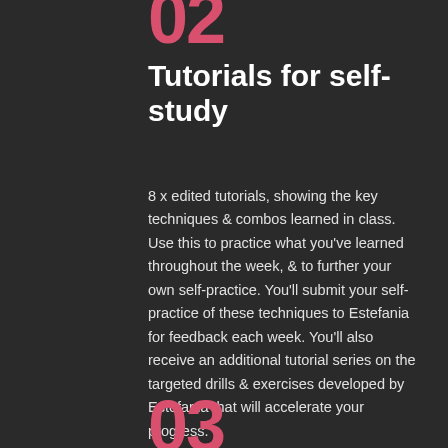02
Tutorials for self-study
8 x edited tutorials, showing the key techniques & combos learned in class. Use this to practice what you've learned throughout the week, & to further your own self-practice. You'll submit your self-practice of these techniques to Estefania for feedback each week. You'll also receive an additional tutorial series on the targeted drills & exercises developed by Estefania that will accelerate your progress.
03